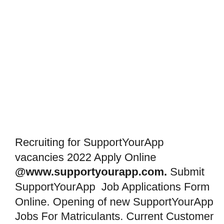Recruiting for SupportYourApp vacancies 2022 Apply Online @www.supportyourapp.com. Submit SupportYourApp  Job Applications Form Online. Opening of new SupportYourApp Jobs For Matriculants. Current Customer Support Consultant Job opportunities at SupportYourApp Careers 2022. Subscribe for instant Notification of Jobs in Western Cape.